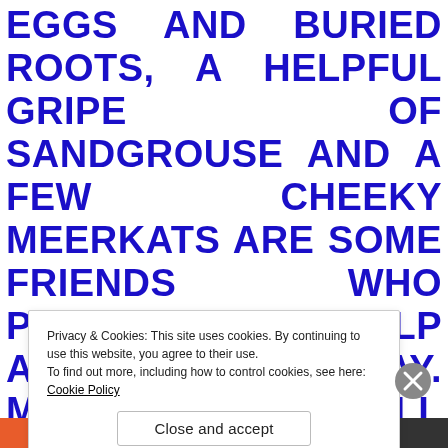EGGS AND BURIED ROOTS, A HELPFUL GRIPE OF SANDGROUSE AND A FEW CHEEKY MEERKATS ARE SOME FRIENDS WHO PROVIDE HELP ALONG THE WAY. MEANWHILE TALL LEADER IS CONFIDENT THAT HIS TACTICS AND DECOYS FOOLED EVERYONE AND THAT NOTHING CAN STOP HIS PLANS TO CROSS THE BORDER
Privacy & Cookies: This site uses cookies. By continuing to use this website, you agree to their use.
To find out more, including how to control cookies, see here: Cookie Policy

Close and accept